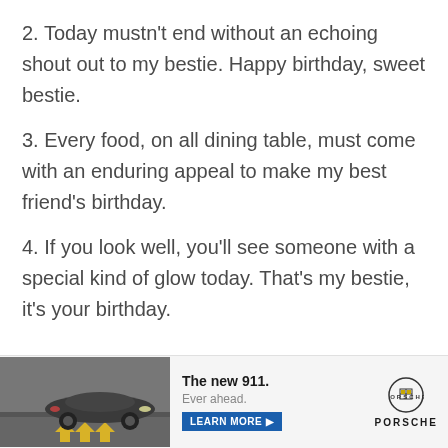2. Today mustn't end without an echoing shout out to my bestie. Happy birthday, sweet bestie.
3. Every food, on all dining table, must come with an enduring appeal to make my best friend's birthday.
4. If you look well, you'll see someone with a special kind of glow today. That's my bestie, it's your birthday.
[Figure (photo): Advertisement banner for the new Porsche 911 showing a car driving on a road with text 'The new 911. Ever ahead.' and a Learn More button with Porsche logo.]